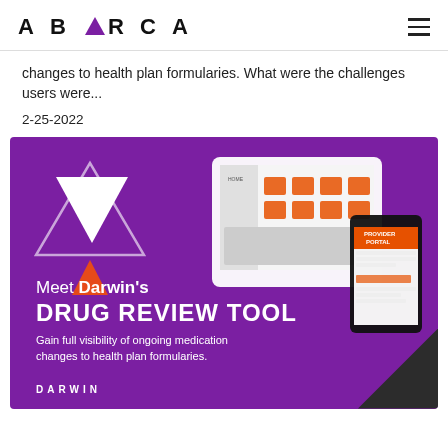ABARCA
changes to health plan formularies. What were the challenges users were...
2-25-2022
[Figure (illustration): Purple banner for Darwin's Drug Review Tool featuring tablet and phone device mockups, triangular decorative shapes, and text: Meet Darwin's DRUG REVIEW TOOL — Gain full visibility of ongoing medication changes to health plan formularies. DARWIN logo at bottom left.]